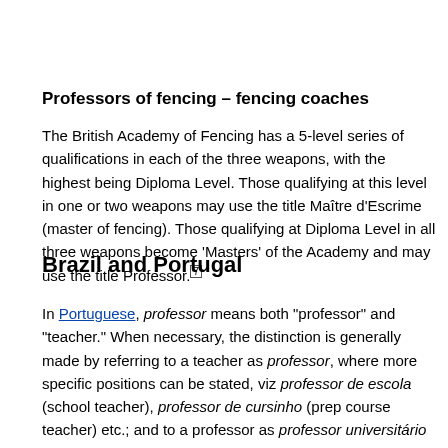Professors of fencing – fencing coaches
The British Academy of Fencing has a 5-level series of qualifications in each of the three weapons, with the highest being Diploma Level. Those qualifying at this level in one or two weapons may use the title Maître d'Escrime (master of fencing). Those qualifying at Diploma Level in all three weapons become 'Masters' of the Academy and may use the title Professor.[7]
Brazil and Portugal
In Portuguese, professor means both "professor" and "teacher." When necessary, the distinction is generally made by referring to a teacher as professor, where more specific positions can be stated, viz professor de escola (school teacher), professor de cursinho (prep course teacher) etc.; and to a professor as professor universitário (university professor).